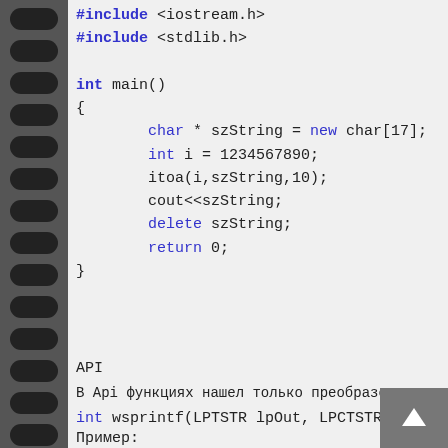#include <iostream.h>
#include <stdlib.h>

int main()
{
        char * szString = new char[17];
        int i = 1234567890;
        itoa(i,szString,10);
        cout<<szString;
        delete szString;
        return 0;
}
API
В Api функциях нашел только преобразова
int wsprintf(LPTSTR lpOut, LPCTSTR lpFm
Пример: